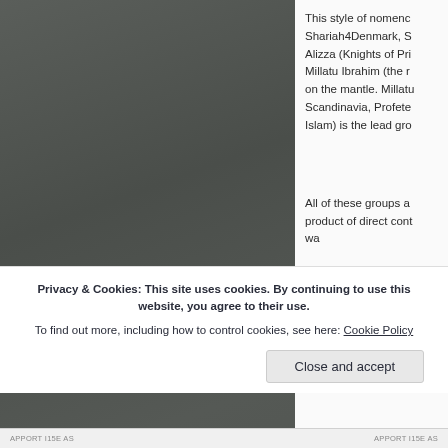[Figure (photo): Dark grey/charcoal colored image, appears to be a close-up photo with a torn or rough right edge, occupying the left portion of the page.]
This style of nomenclature, Shariah4Denmark, S... Alizza (Knights of Pri... Millatu Ibrahim (the r... on the mantle. Millatu... Scandinavia, Profete... Islam) is the lead gro...
All of these groups a... product of direct cont... wa...
Privacy & Cookies: This site uses cookies. By continuing to use this website, you agree to their use.
To find out more, including how to control cookies, see here: Cookie Policy
Close and accept
APPORT I15E AS